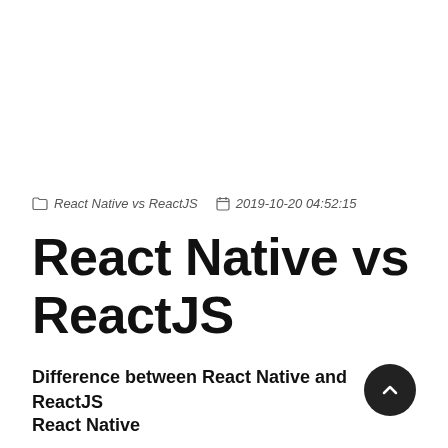React Native vs ReactJS  2019-10-20 04:52:15
React Native vs ReactJS
Difference between React Native and ReactJS
React Native